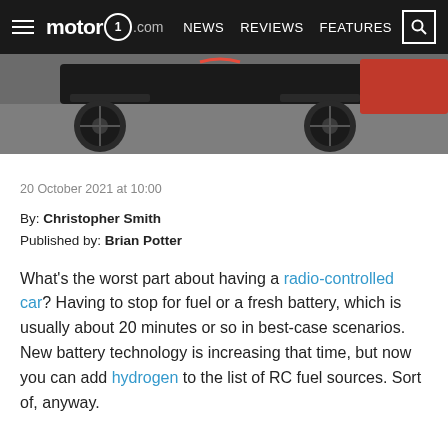motor1.com — NEWS  REVIEWS  FEATURES
[Figure (photo): Top-down view of a radio-controlled car on pavement, showing front axle, wheels, and red body parts]
20 October 2021 at 10:00
By: Christopher Smith
Published by: Brian Potter
What's the worst part about having a radio-controlled car? Having to stop for fuel or a fresh battery, which is usually about 20 minutes or so in best-case scenarios. New battery technology is increasing that time, but now you can add hydrogen to the list of RC fuel sources. Sort of, anyway.